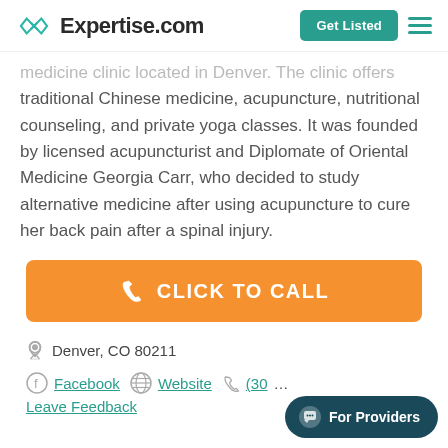Expertise.com | Get Listed
medicine clinic located in Denver. The clinic offers traditional Chinese medicine, acupuncture, nutritional counseling, and private yoga classes. It was founded by licensed acupuncturist and Diplomate of Oriental Medicine Georgia Carr, who decided to study alternative medicine after using acupuncture to cure her back pain after a spinal injury.
[Figure (other): Orange call-to-action button with phone icon and text CLICK TO CALL]
Denver, CO 80211
Facebook  Website  (30...
Leave Feedback
[Figure (other): For Providers chat button in dark teal, bottom right corner]